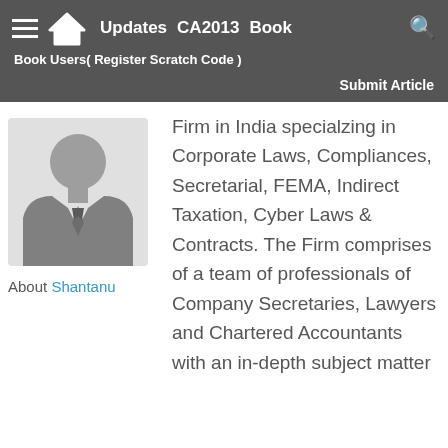Updates  CA2013  Book  Book Users( Register Scratch Code )  Submit Article
[Figure (illustration): Profile silhouette of a person in a suit with tie, gray tones]
About Shantanu
Firm in India specialzing in Corporate Laws, Compliances, Secretarial, FEMA, Indirect Taxation, Cyber Laws & Contracts. The Firm comprises of a team of professionals of Company Secretaries, Lawyers and Chartered Accountants with an in-depth subject matter